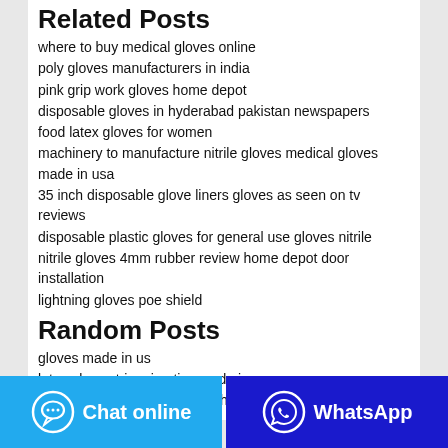Related Posts
where to buy medical gloves online
poly gloves manufacturers in india
pink grip work gloves home depot
disposable gloves in hyderabad pakistan newspapers
food latex gloves for women
machinery to manufacture nitrile gloves medical gloves made in usa
35 inch disposable glove liners gloves as seen on tv reviews
disposable plastic gloves for general use gloves nitrile
nitrile gloves 4mm rubber review home depot door installation
lightning gloves poe shield
Random Posts
gloves made in us
latex gloves trimming tips made in usa
cheap working gloves for dry hands pdf free
[Figure (other): Chat online button (cyan) and WhatsApp button (dark blue) at the bottom of the page]